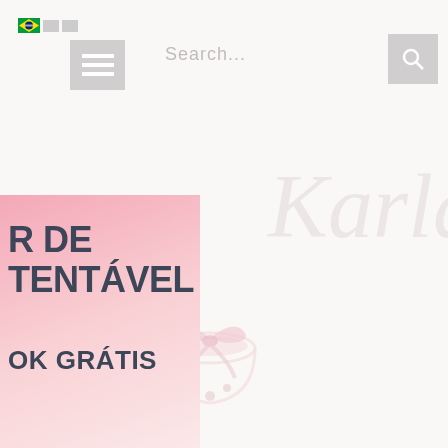[Figure (screenshot): Website header with Brazilian and UK flag icons, hamburger menu icon, search bar with placeholder text 'Search...' and a search button with magnifier icon]
[Figure (illustration): Cursive watermark text reading 'Karla' in light pink/grey on white background]
[Figure (illustration): Pink gradient promotional card banner on left side of page]
R DE TENTÁVEL
OK GRÁTIS
[Figure (illustration): Decorative gift bow/ribbon illustration in light pink at bottom center]